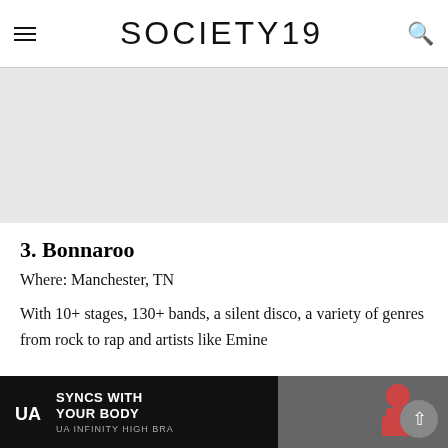SOCIETY19
[Figure (other): Advertisement/blank space area]
3. Bonnaroo
Where: Manchester, TN
With 10+ stages, 130+ bands, a silent disco, a variety of genres from rock to rap and artists like Emine... in 2018, ...s
[Figure (other): Under Armour advertisement banner: SYNCS WITH YOUR BODY — UA INFINITY HIGH BRA, with image of woman in athletic wear]